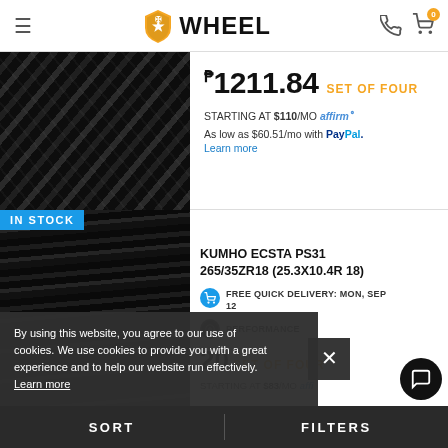≡  WHEEL  [phone icon] [cart icon] 0
[Figure (photo): Close-up of a dark tire tread pattern, partially visible at top of page]
₱1211.84 SET OF FOUR
STARTING AT $110/MO affirm
As low as $60.51/mo with PayPal. Learn more
IN STOCK
KUMHO ECSTA PS31 265/35ZR18 (25.3X10.4R 18)
[Figure (photo): Close-up of Kumho tire tread pattern, dark background]
FREE QUICK DELIVERY: MON, SEP 12
PERFORMANCE
CTURER MILEAGE TY
20 SET OF FOUR
STARTING AT $83/MO affirm
By using this website, you agree to our use of cookies. We use cookies to provide you with a great experience and to help our website run effectively. Learn more
SORT   FILTERS